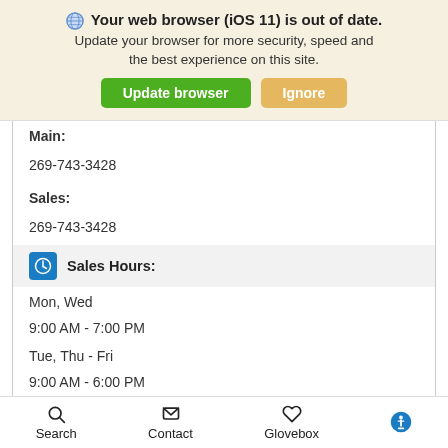[Figure (screenshot): Browser update notification banner: globe icon, bold text 'Your web browser (iOS 11) is out of date.', subtext 'Update your browser for more security, speed and the best experience on this site.', green 'Update browser' button and orange 'Ignore' button.]
Main:
269-743-3428
Sales:
269-743-3428
Sales Hours:
Mon, Wed
9:00 AM - 7:00 PM
Tue, Thu - Fri
9:00 AM - 6:00 PM
Sat
9:00 AM - 2:00 PM
Sun
Closed
Search   Contact   Glovebox   (accessibility icon)